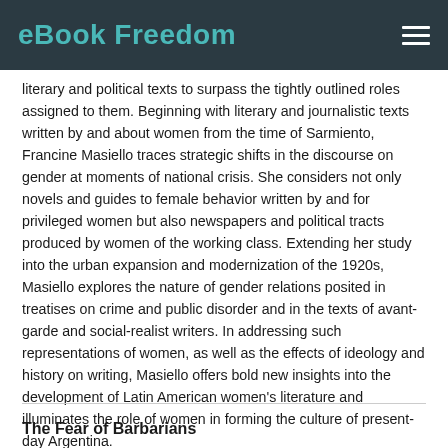eBook Freedom
literary and political texts to surpass the tightly outlined roles assigned to them. Beginning with literary and journalistic texts written by and about women from the time of Sarmiento, Francine Masiello traces strategic shifts in the discourse on gender at moments of national crisis. She considers not only novels and guides to female behavior written by and for privileged women but also newspapers and political tracts produced by women of the working class. Extending her study into the urban expansion and modernization of the 1920s, Masiello explores the nature of gender relations posited in treatises on crime and public disorder and in the texts of avant-garde and social-realist writers. In addressing such representations of women, as well as the effects of ideology and history on writing, Masiello offers bold new insights into the development of Latin American women's literature and illuminates the role of women in forming the culture of present-day Argentina.
The Fear of Barbarians